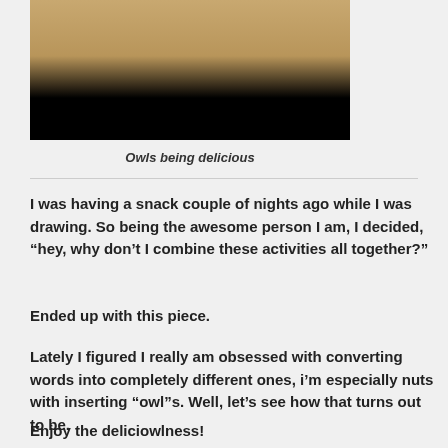[Figure (photo): Partial photo of an owl or food item against black background, cropped at top of page]
Owls being delicious
I was having a snack couple of nights ago while I was drawing. So being the awesome person I am, I decided, “hey, why don’t I combine these activities all together?”
Ended up with this piece.
Lately I figured I really am obsessed with converting words into completely different ones, i’m especially nuts with inserting “owl”s. Well, let’s see how that turns out to be.
Enjoy the deliciowlness!
19/03/2012 BY EQUINCO